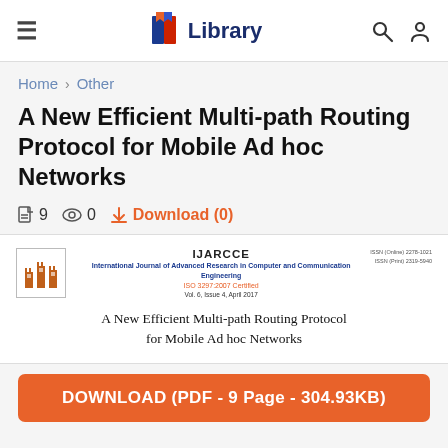Library
Home > Other
A New Efficient Multi-path Routing Protocol for Mobile Ad hoc Networks
9  0  Download (0)
[Figure (screenshot): Preview of IJARCCE journal paper header showing title 'A New Efficient Multi-path Routing Protocol for Mobile Ad hoc Networks', International Journal of Advanced Research in Computer and Communication Engineering, ISO 3297:2007 Certified, Vol. 6, Issue 4, April 2017]
DOWNLOAD (PDF - 9 Page - 304.93KB)